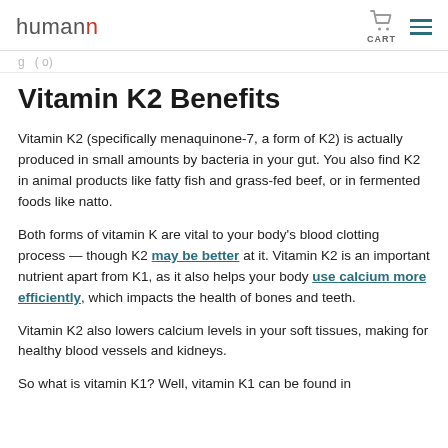humann CART
g ( o)
Vitamin K2 Benefits
Vitamin K2 (specifically menaquinone-7, a form of K2) is actually produced in small amounts by bacteria in your gut. You also find K2 in animal products like fatty fish and grass-fed beef, or in fermented foods like natto.
Both forms of vitamin K are vital to your body's blood clotting process — though K2 may be better at it. Vitamin K2 is an important nutrient apart from K1, as it also helps your body use calcium more efficiently, which impacts the health of bones and teeth.
Vitamin K2 also lowers calcium levels in your soft tissues, making for healthy blood vessels and kidneys.
So what is vitamin K1? Well, vitamin K1 can be found in